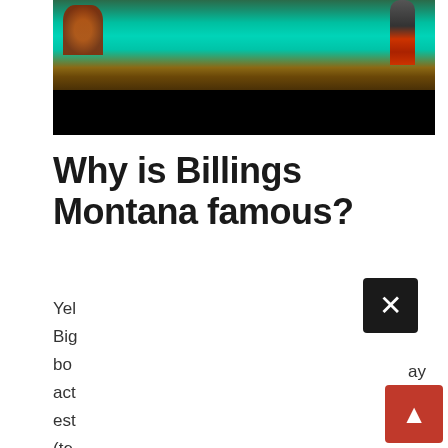[Figure (photo): Outdoor river/lake scene with a person wading in turquoise water, greenery in background, lower half blacked out]
Why is Billings Montana famous?
Yel
Big                                                           ay
bo                                                           ich
act
est
(te
bo                                                            a
St